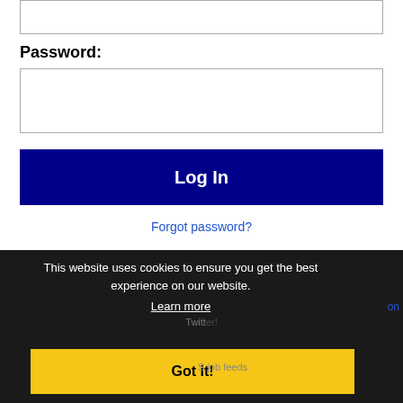[Figure (screenshot): Partial input field at top of login form (cut off at top of page)]
Password:
[Figure (screenshot): Password input field (empty text box)]
Log In
Forgot password?
This website uses cookies to ensure you get the best experience on our website. Learn more
Get the latest b... following @zecnet on Twitter!
Got it!
C... S job feeds